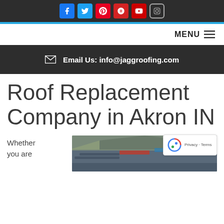[Figure (screenshot): Social media icons bar: Facebook, Twitter, Pinterest, Yelp, YouTube, Instagram on dark background]
MENU
Email Us: info@jaggroofing.com
Roof Replacement Company in Akron IN
Whether you are
[Figure (photo): Photo of roofing work in progress, showing shingles and workers]